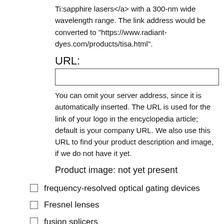Ti:sapphire lasers</a> with a 300-nm wide wavelength range. The link address would be converted to "https://www.radiant-dyes.com/products/tisa.html".
URL:
You can omit your server address, since it is automatically inserted. The URL is used for the link of your logo in the encyclopedia article; default is your company URL. We also use this URL to find your product description and image, if we do not have it yet.
Product image: not yet present
frequency-resolved optical gating devices
Fresnel lenses
fusion splicers
gain equalization filters
gain-switched lasers